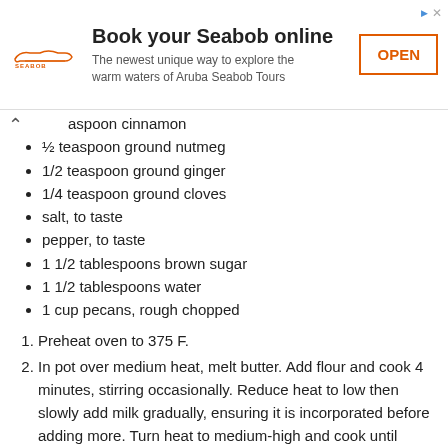[Figure (other): Advertisement banner for Seabob online booking. Shows Seabob logo, title 'Book your Seabob online', subtitle 'The newest unique way to explore the warm waters of Aruba Seabob Tours', and an OPEN button with orange border.]
aspoon cinnamon (partial, cut off at top)
1/2 teaspoon ground nutmeg
1/2 teaspoon ground ginger
1/4 teaspoon ground cloves
salt, to taste
pepper, to taste
1 1/2 tablespoons brown sugar
1 1/2 tablespoons water
1 cup pecans, rough chopped
1. Preheat oven to 375 F.
2. In pot over medium heat, melt butter. Add flour and cook 4 minutes, stirring occasionally. Reduce heat to low then slowly add milk gradually, ensuring it is incorporated before adding more. Turn heat to medium-high and cook until thickened, stirring continuously. Remove from heat and set aside.
3. In bowl, add drained potatoes, sauce, bacon, cinnamon, nutmeg, ginger and cloves. Season with salt and pepper, to taste; mix well.